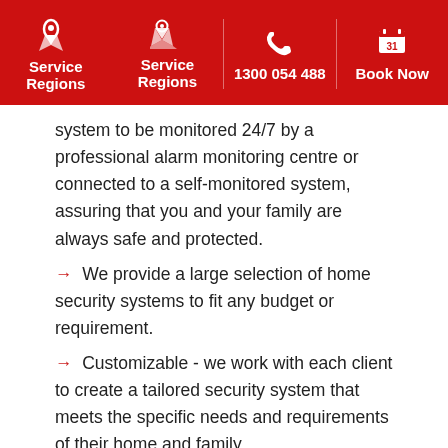Service Regions | 1300 054 488 | Book Now
system to be monitored 24/7 by a professional alarm monitoring centre or connected to a self-monitored system, assuring that you and your family are always safe and protected.
→ We provide a large selection of home security systems to fit any budget or requirement.
→ Customizable - we work with each client to create a tailored security system that meets the specific needs and requirements of their home and family.
Your local home security specialists in Mango Hill
Contact Fallon Solutions home security specialists on 1300 054 488 or complete the home security service request form above and one of our friendly team will contact you to arrange your home security.